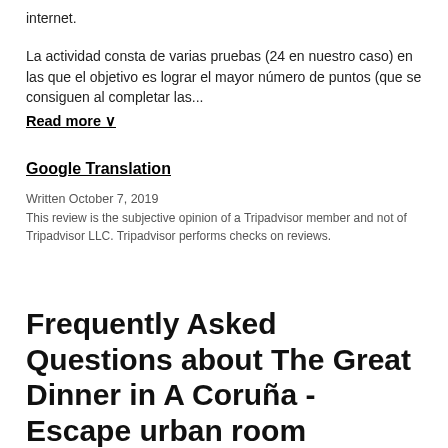internet.
La actividad consta de varias pruebas (24 en nuestro caso) en las que el objetivo es lograr el mayor número de puntos (que se consiguen al completar las...
Read more ∨
Google Translation
Written October 7, 2019
This review is the subjective opinion of a Tripadvisor member and not of Tripadvisor LLC. Tripadvisor performs checks on reviews.
Frequently Asked Questions about The Great Dinner in A Coruña - Escape urban room